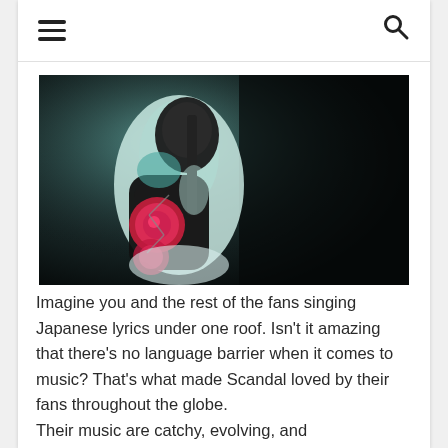≡ [hamburger menu] | [search icon]
[Figure (photo): A musician performing on stage wearing elaborate costume with a decorated guitar; dark background with pink/red circular design elements visible on the guitar body; teal and white costume details]
Imagine you and the rest of the fans singing Japanese lyrics under one roof. Isn't it amazing that there's no language barrier when it comes to music? That's what made Scandal loved by their fans throughout the globe.
Their music are catchy, evolving, and